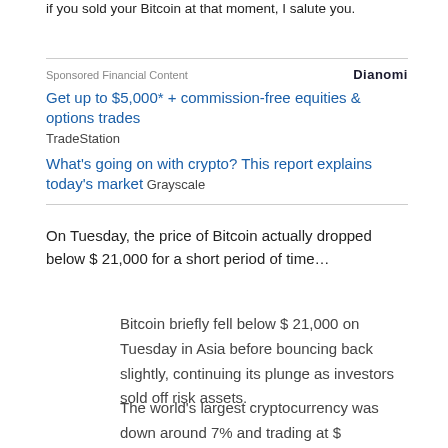if you sold your Bitcoin at that moment, I salute you.
Sponsored Financial Content
Dianomi
Get up to $5,000* + commission-free equities & options trades
TradeStation
What's going on with crypto? This report explains today's market Grayscale
On Tuesday, the price of Bitcoin actually dropped below $ 21,000 for a short period of time…
Bitcoin briefly fell below $ 21,000 on Tuesday in Asia before bouncing back slightly, continuing its plunge as investors sold off risk assets.
The world's largest cryptocurrency was down around 7% and trading at $ 22,531.22 at around